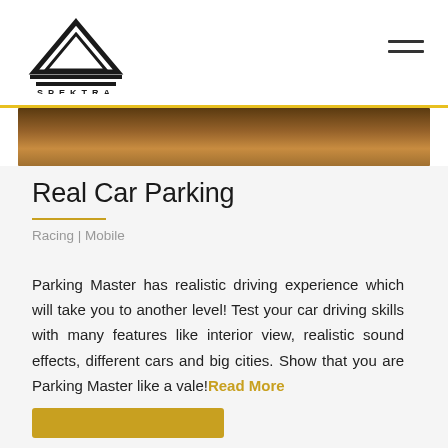SPEKTRA
[Figure (photo): Brown/tan colored hero image strip showing partial view of a scene]
Real Car Parking
Racing | Mobile
Parking Master has realistic driving experience which will take you to another level! Test your car driving skills with many features like interior view, realistic sound effects, different cars and big cities. Show that you are Parking Master like a vale!Read More